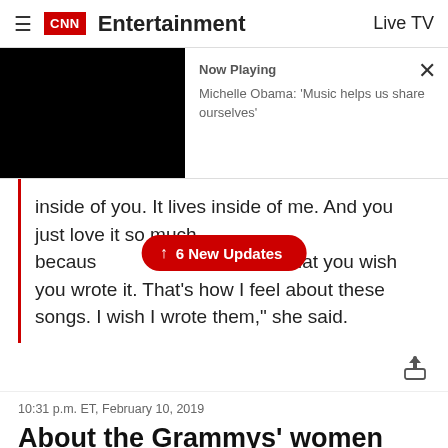CNN Entertainment  Live TV
[Figure (screenshot): CNN video player thumbnail showing black screen, with 'Now Playing' panel: Michelle Obama: 'Music helps us share ourselves'. Close X button top right.]
inside of you. It lives inside of me. And you just love it so much because [6 New Updates] well that you wish you wrote it. That's how I feel about these songs. I wish I wrote them," she said.
10:31 p.m. ET, February 10, 2019
About the Grammys' women problem
From CNN's Lisa Respers France